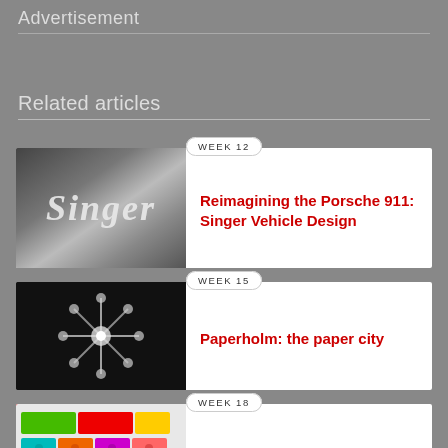Advertisement
Related articles
WEEK 12
[Figure (photo): Silver metallic Singer script logo on grey gradient background]
Reimagining the Porsche 911: Singer Vehicle Design
WEEK 15
[Figure (photo): Dark black background with bright symmetrical light pattern radiating from center]
Paperholm: the paper city
WEEK 18
[Figure (photo): Colorful assortment of Lego bricks in various colors]
Custom Lego sets